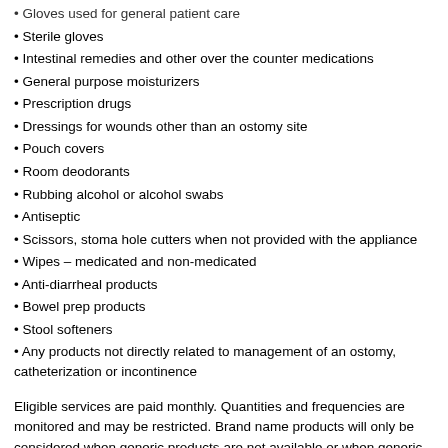Gloves used for general patient care
Sterile gloves
Intestinal remedies and other over the counter medications
General purpose moisturizers
Prescription drugs
Dressings for wounds other than an ostomy site
Pouch covers
Room deodorants
Rubbing alcohol or alcohol swabs
Antiseptic
Scissors, stoma hole cutters when not provided with the appliance
Wipes – medicated and non-medicated
Anti-diarrheal products
Bowel prep products
Stool softeners
Any products not directly related to management of an ostomy, catheterization or incontinence
Eligible services are paid monthly. Quantities and frequencies are monitored and may be restricted. Brand name products will only be considered when generic products are not available or when generic products will not meet the client's medical needs. (Justification will be required).
There is no cost to eligible clients for entitled ostomy, catheterization or incontinence supplies.